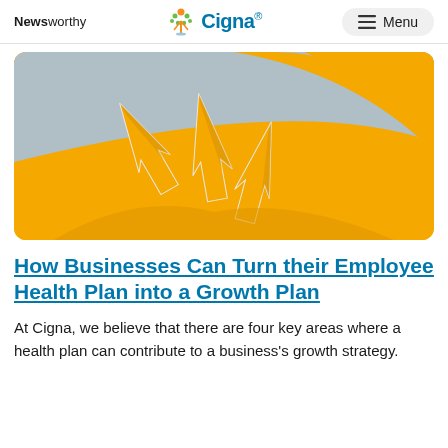Newsworthy | Cigna® | Menu
[Figure (photo): Orange background with upward-pointing paper/cardboard arrows arranged in a dynamic pattern, suggesting growth and upward movement. Some arrows are folded from the orange surface itself.]
How Businesses Can Turn their Employee Health Plan into a Growth Plan
At Cigna, we believe that there are four key areas where a health plan can contribute to a business's growth strategy.